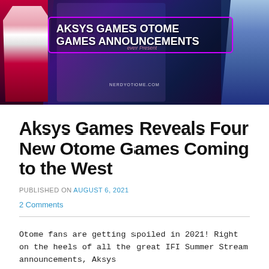[Figure (illustration): Banner image for Aksys Games Otome Games Announcements, featuring anime-style characters on a dark purple/blue background with the text 'AKSYS GAMES OTOME GAMES ANNOUNCEMENTS' inside a pink/magenta bordered box, and 'NERDYOTOME.COM' watermark]
Aksys Games Reveals Four New Otome Games Coming to the West
PUBLISHED ON August 6, 2021
2 Comments
Otome fans are getting spoiled in 2021! Right on the heels of all the great IFI Summer Stream announcements, Aksys